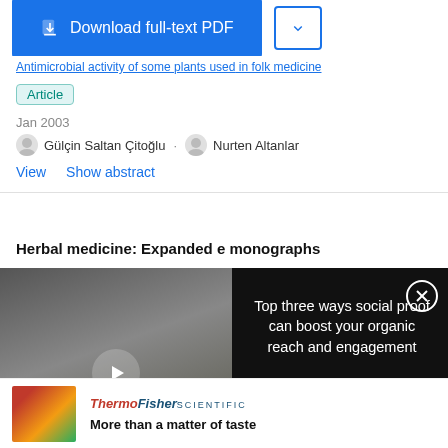[Figure (screenshot): Blue download button 'Download full-text PDF' and a dropdown button]
Antimicrobial activity of some plants used in folk medicine
Article
Jan 2003
Gülçin Saltan Çitoğlu · Nurten Altanlar
View   Show abstract
Herbal medicine: Expanded e monographs
[Figure (screenshot): Video overlay showing lab scientists with text 'Top three ways social proof can boost your organic reach and engagement']
[Figure (logo): Thermo Fisher Scientific logo]
More than a matter of taste